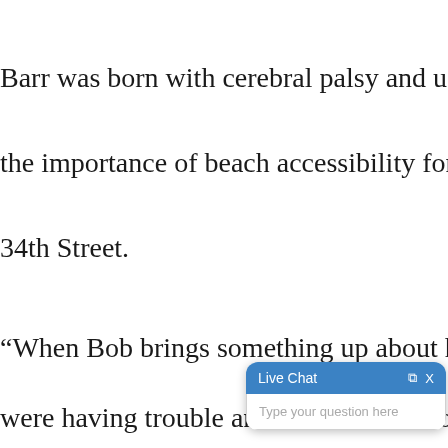Barr was born with cerebral palsy and uses a w
the importance of beach accessibility for people
34th Street.
“When Bob brings something up about his hand
were having trouble and he advocates for peop
beach mats. We have to d
[Figure (screenshot): Live Chat widget with blue header showing 'Live Chat' title, expand and close icons, and a text input area with placeholder 'Type your question here']